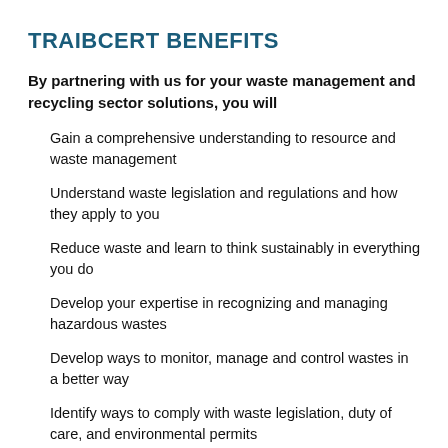TRAIBCERT BENEFITS
By partnering with us for your waste management and recycling sector solutions, you will
Gain a comprehensive understanding to resource and waste management
Understand waste legislation and regulations and how they apply to you
Reduce waste and learn to think sustainably in everything you do
Develop your expertise in recognizing and managing hazardous wastes
Develop ways to monitor, manage and control wastes in a better way
Identify ways to comply with waste legislation, duty of care, and environmental permits